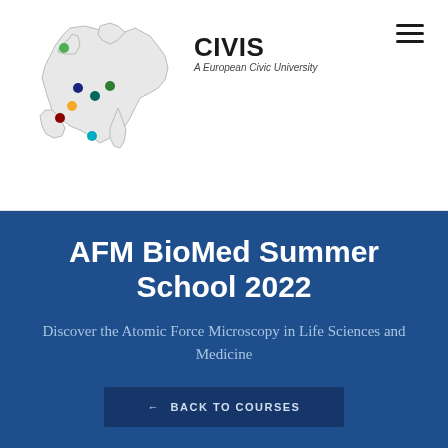[Figure (illustration): CIVIS - A European Civic University logo with a stylized map of Europe showing colored dots at partner university locations]
CIVIS - A European Civic University
AFM BioMed Summer School 2022
Discover the Atomic Force Microscopy in Life Sciences and Medicine
← BACK TO COURSES
CIVIS FOCUS AREA
Health